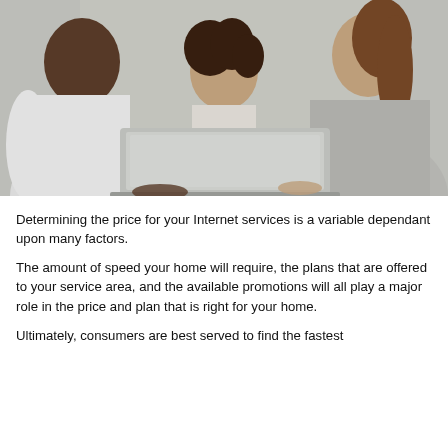[Figure (photo): A family of three — a man in a white shirt on the left, a young child in the middle, and a woman in a gray sweater on the right — gathered together looking at a laptop computer screen.]
Determining the price for your Internet services is a variable dependant upon many factors.
The amount of speed your home will require, the plans that are offered to your service area, and the available promotions will all play a major role in the price and plan that is right for your home.
Ultimately, consumers are best served to find the fastest